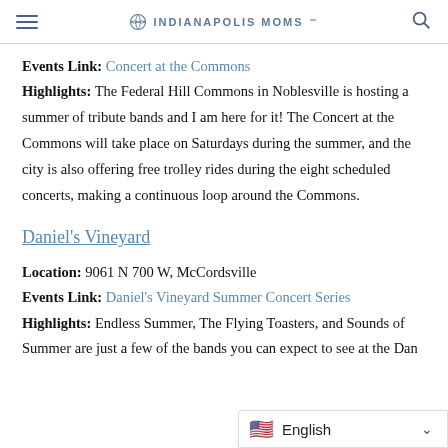INDIANAPOLIS MOMS
Events Link: Concert at the Commons
Highlights: The Federal Hill Commons in Noblesville is hosting a summer of tribute bands and I am here for it! The Concert at the Commons will take place on Saturdays during the summer, and the city is also offering free trolley rides during the eight scheduled concerts, making a continuous loop around the Commons.
Daniel's Vineyard
Location: 9061 N 700 W, McCordsville
Events Link: Daniel's Vineyard Summer Concert Series
Highlights: Endless Summer, The Flying Toasters, and Sounds of Summer are just a few of the bands you can expect to see at the Dan…